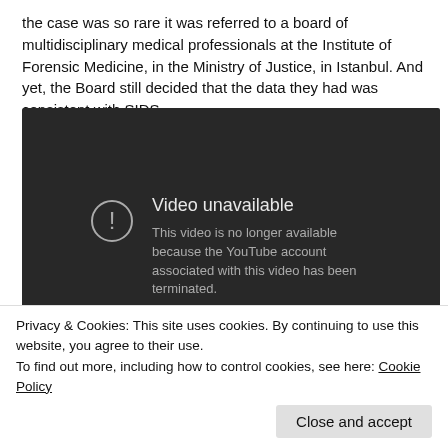the case was so rare it was referred to a board of multidisciplinary medical professionals at the Institute of Forensic Medicine, in the Ministry of Justice, in Istanbul. And yet, the Board still decided that the data they had was consistent with SIDS.
[Figure (screenshot): Embedded YouTube video player showing 'Video unavailable' message. Text reads: 'This video is no longer available because the YouTube account associated with this video has been terminated.' A play button icon is visible in the bottom right corner.]
Privacy & Cookies: This site uses cookies. By continuing to use this website, you agree to their use.
To find out more, including how to control cookies, see here: Cookie Policy
Close and accept